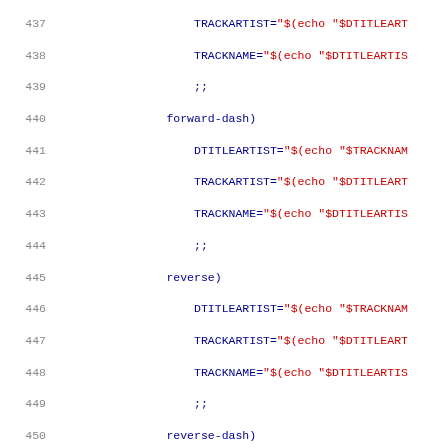Code listing lines 437-468 showing shell script with case statement handling track artist parsing (forward-dash, reverse, reverse-dash, colon, trailing-paren cases) and elif/else conditions